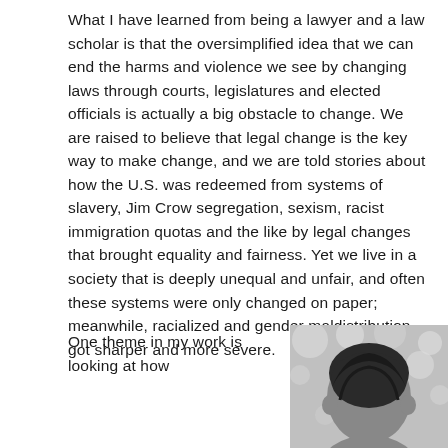What I have learned from being a lawyer and a law scholar is that the oversimplified idea that we can end the harms and violence we see by changing laws through courts, legislatures and elected officials is actually a big obstacle to change. We are raised to believe that legal change is the key way to make change, and we are told stories about how the U.S. was redeemed from systems of slavery, Jim Crow segregation, sexism, racist immigration quotas and the like by legal changes that brought equality and fairness. Yet we live in a society that is deeply unequal and unfair, and often these systems were only changed on paper; meanwhile, racialized and gender maldistribution got sharper and more severe.
One theme in my work is looking at how
[Figure (photo): Black and white photograph showing the back/top of a person's head with dark hair, with blurred bokeh background]